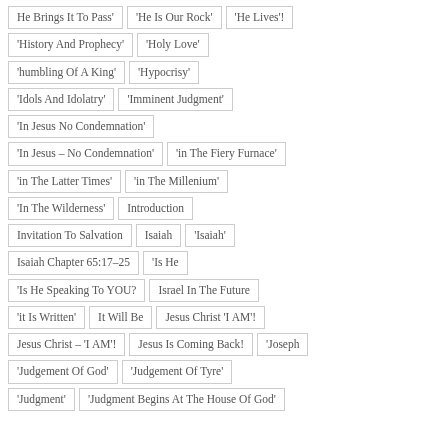He Brings It To Pass'
'He Is Our Rock'
'He Lives'!
'History And Prophecy'
'Holy Love'
'humbling Of A King'
'Hypocrisy'
'Idols And Idolatry'
'Imminent Judgment'
'In Jesus No Condemnation'
'In Jesus – No Condemnation'
'in The Fiery Furnace'
'in The Latter Times'
'in The Millenium'
'In The Wilderness'
Introduction
Invitation To Salvation
Isaiah
'Isaiah'
Isaiah Chapter 65:17–25
'Is He
'Is He Speaking To YOU?
Israel In The Future
'it Is Written'
It Will Be
Jesus Christ 'I AM'!
Jesus Christ – 'I AM'!
Jesus Is Coming Back!
'Joseph
'Judgement Of God'
'Judgement Of Tyre'
'Judgment'
'Judgment Begins At The House Of God'